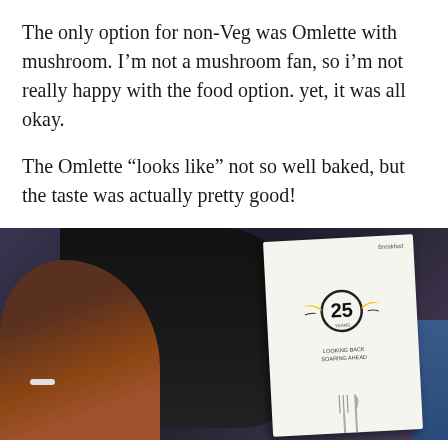The only option for non-Veg was Omlette with mushroom. I'm not a mushroom fan, so i'm not really happy with the food option. yet, it was all okay.
The Omlette "looks like" not so well baked, but the taste was actually pretty good!
[Figure (photo): Photo taken on an airplane showing a person's lap with dark clothing, a shoe visible at the bottom left, a white airline menu booklet with a 25 years anniversary logo (showing '25 YEARS LOOKING BACK SOARING AHEAD') and cutlery at the bottom, and a blue airplane seat on the right.]